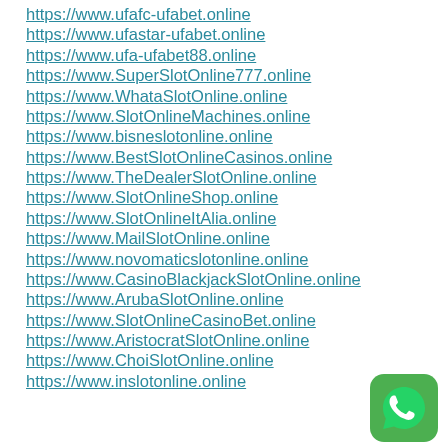https://www.ufafc-ufabet.online
https://www.ufastar-ufabet.online
https://www.ufa-ufabet88.online
https://www.SuperSlotOnline777.online
https://www.WhataSlotOnline.online
https://www.SlotOnlineMachines.online
https://www.bisneslotonline.online
https://www.BestSlotOnlineCasinos.online
https://www.TheDealerSlotOnline.online
https://www.SlotOnlineShop.online
https://www.SlotOnlineItAlia.online
https://www.MailSlotOnline.online
https://www.novomaticslotonline.online
https://www.CasinoBlackjackSlotOnline.online
https://www.ArubaSlotOnline.online
https://www.SlotOnlineCasinoBet.online
https://www.AristocratSlotOnline.online
https://www.ChoiSlotOnline.online
https://www.inslotonline.online
[Figure (illustration): WhatsApp green rounded square button icon with white phone handset logo]